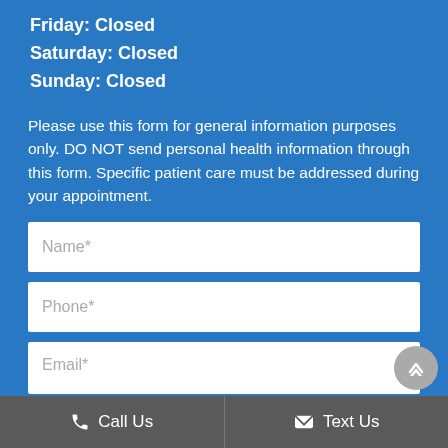Friday: Closed
Saturday: Closed
Sunday: Closed
Please use this form for general information purposes only. DO NOT send personal health information through this form. Specific patient care must be addressed during your appointment.
Name*
Phone*
Email*
Call Us   Text Us